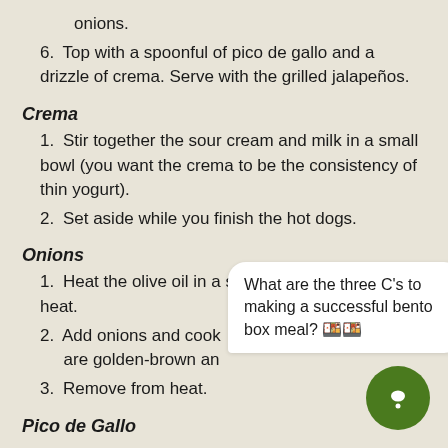onions.
6. Top with a spoonful of pico de gallo and a drizzle of crema. Serve with the grilled jalapeños.
Crema
1. Stir together the sour cream and milk in a small bowl (you want the crema to be the consistency of thin yogurt).
2. Set aside while you finish the hot dogs.
Onions
1. Heat the olive oil in a skillet over medium-high heat.
2. Add onions and cook ... are golden-brown an...
3. Remove from heat.
Pico de Gallo
When it comes to making a great pico de gallo, the most important thing is finding the ripest, tastiest tomatoes you can.
[Figure (other): Chat bubble overlay: 'What are the three C's to making a successful bento box meal? [emoji][emoji]']
[Figure (other): Green circular chat/support button in bottom right corner]